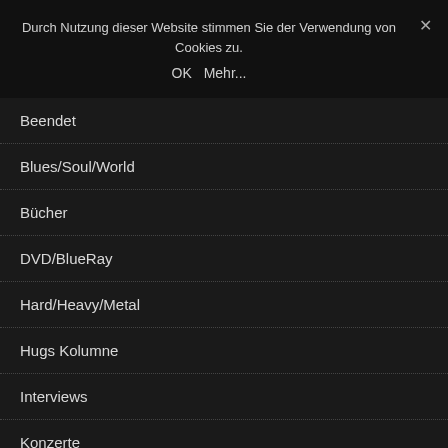Durch Nutzung dieser Website stimmen Sie der Verwendung von Cookies zu.
OK   Mehr...
Beendet
Blues/Soul/World
Bücher
DVD/BlueRay
Hard/Heavy/Metal
Hugs Kolumne
Interviews
Konzerte
Mainstream/Pop/Indie/Alternative
Media Partner
News